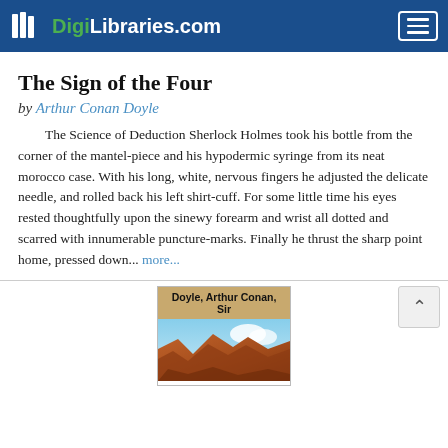DigiLibraries.com
The Sign of the Four
by Arthur Conan Doyle
The Science of Deduction Sherlock Holmes took his bottle from the corner of the mantel-piece and his hypodermic syringe from its neat morocco case. With his long, white, nervous fingers he adjusted the delicate needle, and rolled back his left shirt-cuff. For some little time his eyes rested thoughtfully upon the sinewy forearm and wrist all dotted and scarred with innumerable puncture-marks. Finally he thrust the sharp point home, pressed down... more...
[Figure (illustration): Book cover thumbnail showing 'Doyle, Arthur Conan, Sir' label over a reddish rocky landscape with blue sky]